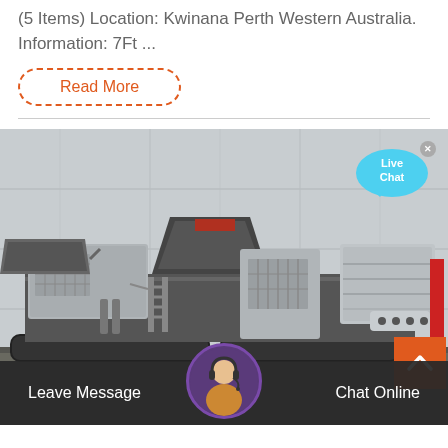(5 Items) Location: Kwinana Perth Western Australia. Information: 7Ft ...
Read More
[Figure (photo): Mobile jaw crusher / screening machine on tracked undercarriage, photographed in front of a grey panelled industrial building wall. The machine is white and dark grey, with various mechanical components including a hopper, engine compartment, and conveyor.]
Live Chat
Leave Message
Chat Online